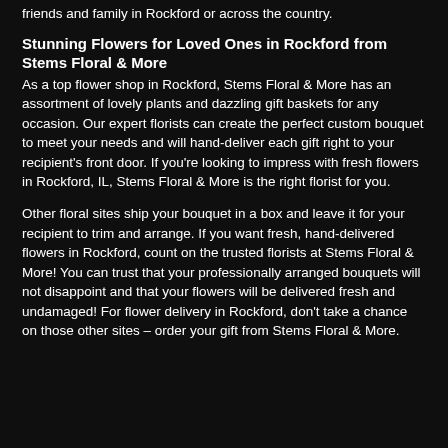friends and family in Rockford or across the country.
Stunning Flowers for Loved Ones in Rockford from Stems Floral & More
As a top flower shop in Rockford, Stems Floral & More has an assortment of lovely plants and dazzling gift baskets for any occasion. Our expert florists can create the perfect custom bouquet to meet your needs and will hand-deliver each gift right to your recipient's front door. If you're looking to impress with fresh flowers in Rockford, IL, Stems Floral & More is the right florist for you.
Other floral sites ship your bouquet in a box and leave it for your recipient to trim and arrange. If you want fresh, hand-delivered flowers in Rockford, count on the trusted florists at Stems Floral & More! You can trust that your professionally arranged bouquets will not disappoint and that your flowers will be delivered fresh and undamaged! For flower delivery in Rockford, don't take a chance on those other sites – order your gift from Stems Floral & More.